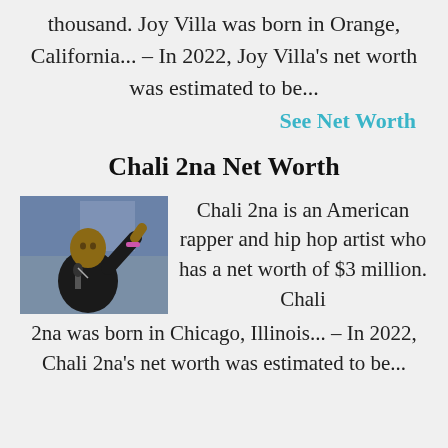thousand. Joy Villa was born in Orange, California... – In 2022, Joy Villa's net worth was estimated to be...
See Net Worth
Chali 2na Net Worth
[Figure (photo): Photo of Chali 2na, a rapper, holding a microphone on stage with hand raised]
Chali 2na is an American rapper and hip hop artist who has a net worth of $3 million. Chali 2na was born in Chicago, Illinois... – In 2022, Chali 2na's net worth was estimated to be...